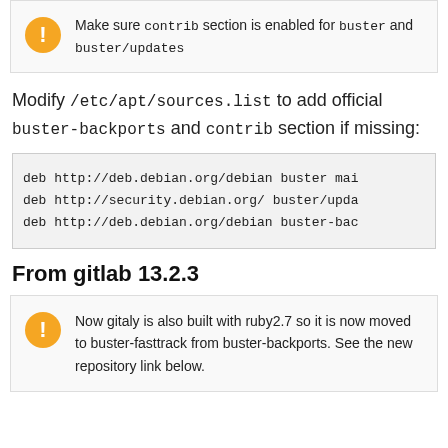Make sure contrib section is enabled for buster and buster/updates
Modify /etc/apt/sources.list to add official buster-backports and contrib section if missing:
deb http://deb.debian.org/debian buster mai
deb http://security.debian.org/ buster/upda
deb http://deb.debian.org/debian buster-bac
From gitlab 13.2.3
Now gitaly is also built with ruby2.7 so it is now moved to buster-fasttrack from buster-backports. See the new repository link below.